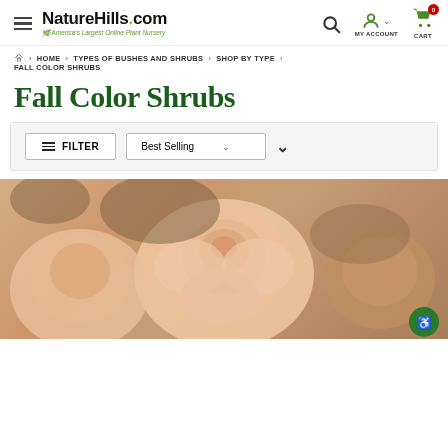NatureHills.com — America's Largest Online Plant Nursery
HOME > TYPES OF BUSHES AND SHRUBS > SHOP BY TYPE > FALL COLOR SHRUBS
Fall Color Shrubs
FILTER | Best Selling
[Figure (photo): Close-up photo of peach/salmon colored roses with soft focus background]